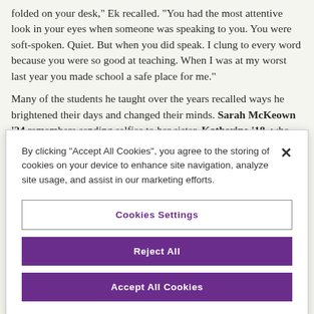folded on your desk," Ek recalled. "You had the most attentive look in your eyes when someone was speaking to you. You were soft-spoken. Quiet. But when you did speak. I clung to every word because you were so good at teaching. When I was at my worst last year you made school a safe place for me."
Many of the students he taught over the years recalled ways he brightened their days and changed their minds. Sarah McKeown '24 remembers sending selfies to her sister, Katherine '18, who had been a Teacher Assistant for Morr. Norma Farah '14 recalled being
By clicking “Accept All Cookies”, you agree to the storing of cookies on your device to enhance site navigation, analyze site usage, and assist in our marketing efforts.
Cookies Settings
Reject All
Accept All Cookies